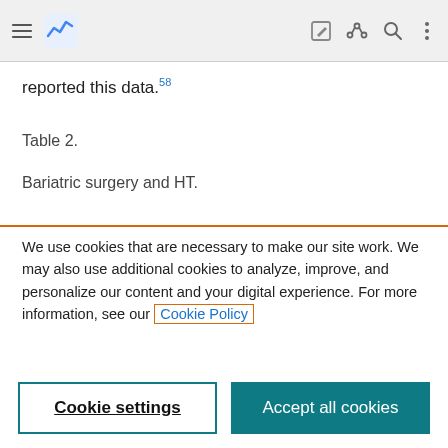[Figure (screenshot): Top navigation bar with hamburger menu, logo (blue chart icon), edit, share, search, and more-options icons on a light gray background]
reported this data.58
Table 2.
Bariatric surgery and HT.
We use cookies that are necessary to make our site work. We may also use additional cookies to analyze, improve, and personalize our content and your digital experience. For more information, see our Cookie Policy
Cookie settings
Accept all cookies